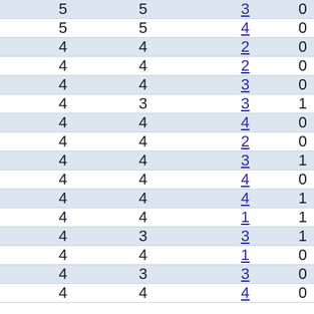| 5 | 5 | 3 | 0 |
| 5 | 5 | 4 | 0 |
| 4 | 4 | 2 | 0 |
| 4 | 4 | 2 | 0 |
| 4 | 4 | 3 | 0 |
| 4 | 3 | 3 | 1 |
| 4 | 4 | 4 | 0 |
| 4 | 4 | 2 | 0 |
| 4 | 4 | 3 | 1 |
| 4 | 4 | 4 | 0 |
| 4 | 4 | 4 | 1 |
| 4 | 4 | 1 | 1 |
| 4 | 3 | 3 | 1 |
| 4 | 4 | 1 | 0 |
| 4 | 3 | 3 | 0 |
| 4 | 4 | 4 | 0 |